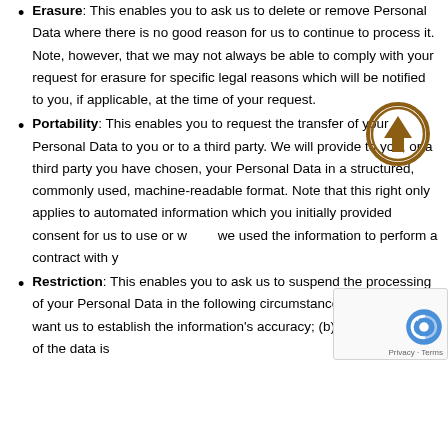Erasure: This enables you to ask us to delete or remove Personal Data where there is no good reason for us to continue to process it. Note, however, that we may not always be able to comply with your request for erasure for specific legal reasons which will be notified to you, if applicable, at the time of your request.
Portability: This enables you to request the transfer of your Personal Data to you or to a third party. We will provide to you, or a third party you have chosen, your Personal Data in a structured, commonly used, machine-readable format. Note that this right only applies to automated information which you initially provided consent for us to use or where we used the information to perform a contract with you.
Restriction: This enables you to ask us to suspend the processing of your Personal Data in the following circumstances: (a) if you want us to establish the information's accuracy; (b) where our use of the data is